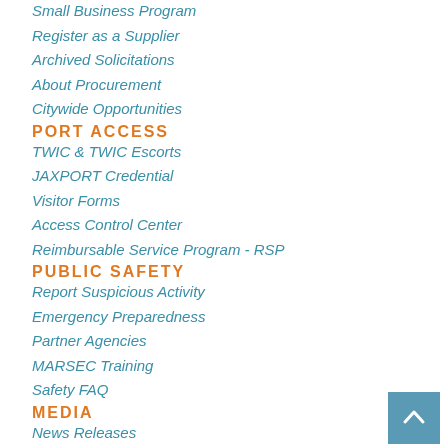Small Business Program
Register as a Supplier
Archived Solicitations
About Procurement
Citywide Opportunities
PORT ACCESS
TWIC & TWIC Escorts
JAXPORT Credential
Visitor Forms
Access Control Center
Reimbursable Service Program - RSP
PUBLIC SAFETY
Report Suspicious Activity
Emergency Preparedness
Partner Agencies
MARSEC Training
Safety FAQ
MEDIA
News Releases